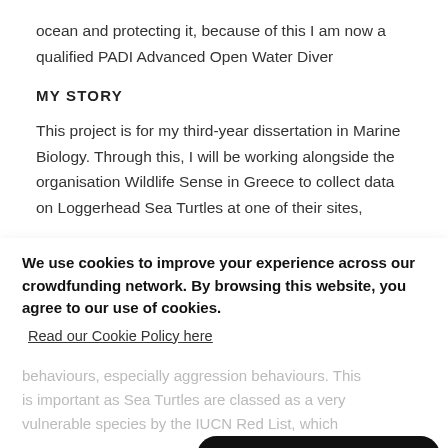ocean and protecting it, because of this I am now a qualified PADI Advanced Open Water Diver
MY STORY
This project is for my third-year dissertation in Marine Biology. Through this, I will be working alongside the organisation Wildlife Sense in Greece to collect data on Loggerhead Sea Turtles at one of their sites,
We use cookies to improve your experience across our crowdfunding network. By browsing this website, you agree to our use of cookies.
Read our Cookie Policy here
Ok. Don't show this again.